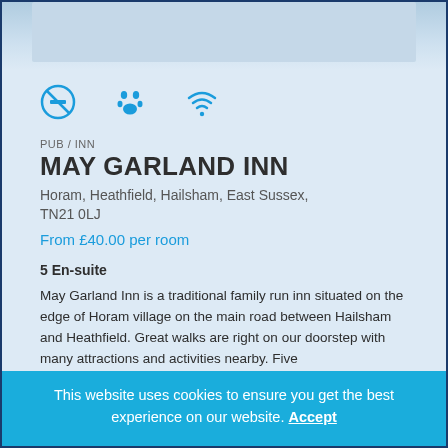[Figure (photo): Top portion of a building/inn photo, partially visible at top of page]
[Figure (infographic): Three icons: no smoking circle, paw print (pet friendly), wifi signal]
PUB / INN
MAY GARLAND INN
Horam, Heathfield, Hailsham, East Sussex, TN21 0LJ
From £40.00 per room
5 En-suite
May Garland Inn is a traditional family run inn situated on the edge of Horam village on the main road between Hailsham and Heathfield. Great walks are right on our doorstep with many attractions and activities nearby. Five
This website uses cookies to ensure you get the best experience on our website. Accept